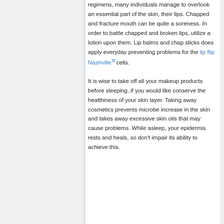regimens, many individuals manage to overlook an essential part of the skin, their lips. Chapped and fracture mouth can be quite a soreness. In order to battle chapped and broken lips, utilize a lotion upon them. Lip balms and chap sticks does apply everyday preventing problems for the lip flip Nashville cells.
It is wise to take off all your makeup products before sleeping, if you would like conserve the healthiness of your skin layer. Taking away cosmetics prevents microbe increase in the skin and takes away excessive skin oils that may cause problems. While asleep, your epidermis rests and heals, so don't impair its ability to achieve this.